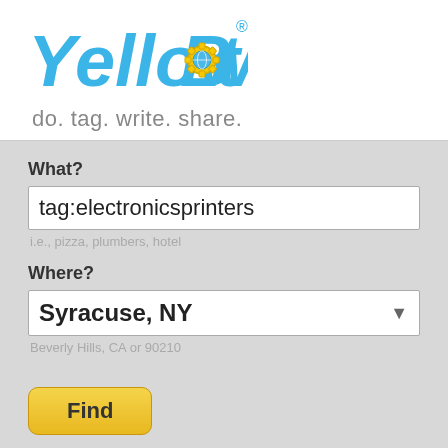[Figure (logo): YellowBot logo with gear and globe icon, text in blue and yellow]
do. tag. write. share.
What?
tag:electronicsprinters
i.e., pizza, plumbers, hotel
Where?
Syracuse, NY
Beverly Hills, CA or 90210
Find
Sign in  Sign up
Showing electronicsprinters